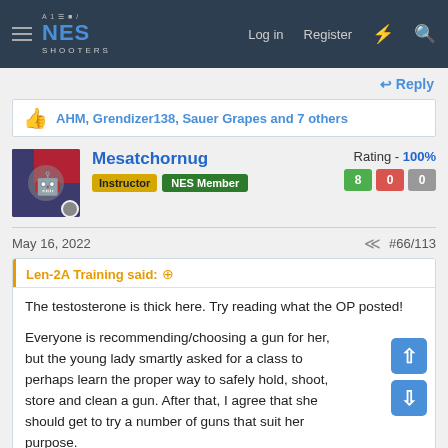NES Shooters — Log in  Register
↩ Reply
AHM, Grendizer138, Sauer Grapes and 7 others
Mesatchornug
Instructor  NES Member
Rating - 100%  8  0  0
May 16, 2022  #66/113
Len-2A Training said: ⊕
The testosterone is thick here. Try reading what the OP posted!

Everyone is recommending/choosing a gun for her, but the young lady smartly asked for a class to perhaps learn the proper way to safely hold, shoot, store and clean a gun. After that, I agree that she should get to try a number of guns that suit her purpose.
There is a very old thread here where said Master discussed the
Click to expand...